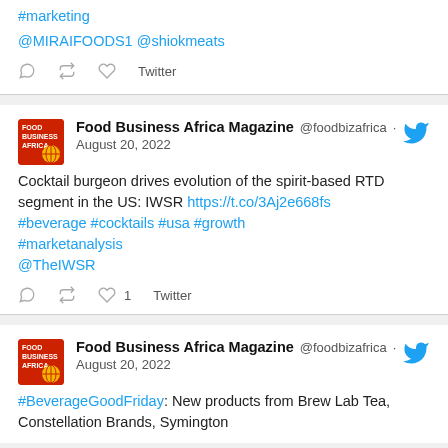#marketing @MIRAIFOODS1 @shiokmeats
Twitter (actions row)
[Figure (screenshot): Food Business Africa Magazine tweet dated August 20, 2022: Cocktail burgeon drives evolution of the spirit-based RTD segment in the US: IWSR https://t.co/3Aj2e668fs #beverage #cocktails #usa #growth #marketanalysis @TheIWSR — 1 like, Twitter]
[Figure (screenshot): Food Business Africa Magazine tweet dated August 20, 2022: #BeverageGoodFriday: New products from Brew Lab Tea, Constellation Brands, Symington (partial)]